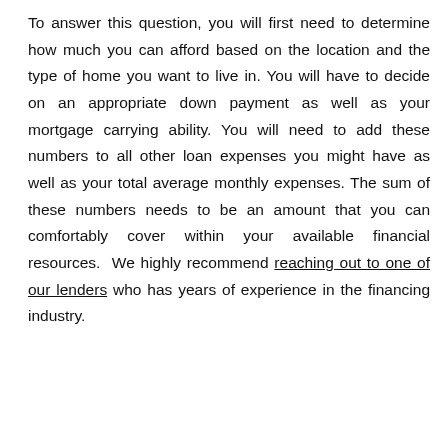To answer this question, you will first need to determine how much you can afford based on the location and the type of home you want to live in. You will have to decide on an appropriate down payment as well as your mortgage carrying ability. You will need to add these numbers to all other loan expenses you might have as well as your total average monthly expenses. The sum of these numbers needs to be an amount that you can comfortably cover within your available financial resources.  We highly recommend reaching out to one of our lenders who has years of experience in the financing industry.